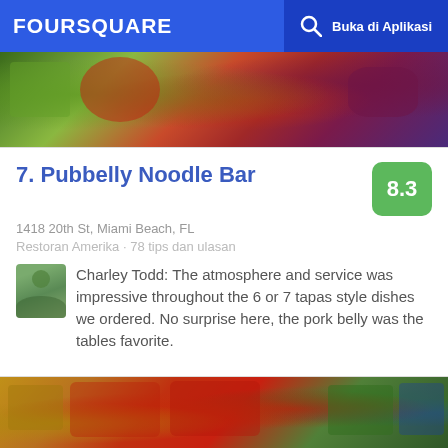FOURSQUARE   Buka di Aplikasi
[Figure (photo): Food photo at top – colorful dishes with vegetables and sauces]
7. Pubbelly Noodle Bar
1418 20th St, Miami Beach, FL
Restoran Amerika · 78 tips dan ulasan
Charley Todd: The atmosphere and service was impressive throughout the 6 or 7 tapas style dishes we ordered. No surprise here, the pork belly was the tables favorite.
[Figure (photo): Fruit and vegetable market display at bottom – apples, kiwis, berries, packaged greens]